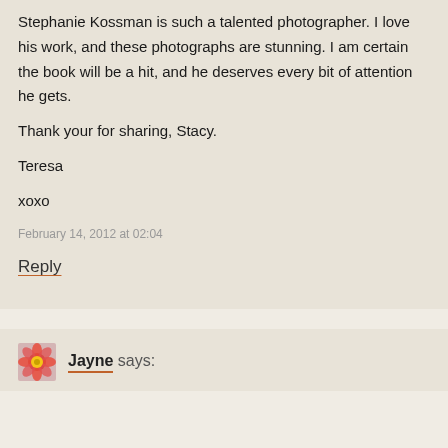Stephanie Kossman is such a talented photographer. I love his work, and these photographs are stunning. I am certain the book will be a hit, and he deserves every bit of attention he gets.

Thank your for sharing, Stacy.

Teresa

xoxo
February 14, 2012 at 02:04
Reply
Jayne says: